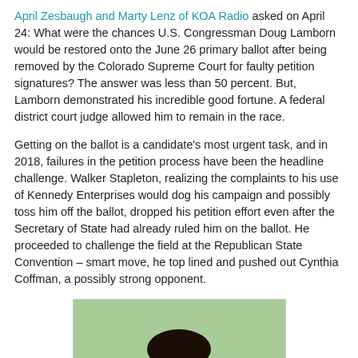April Zesbaugh and Marty Lenz of KOA Radio asked on April 24: What were the chances U.S. Congressman Doug Lamborn would be restored onto the June 26 primary ballot after being removed by the Colorado Supreme Court for faulty petition signatures? The answer was less than 50 percent. But, Lamborn demonstrated his incredible good fortune. A federal district court judge allowed him to remain in the race.
Getting on the ballot is a candidate's most urgent task, and in 2018, failures in the petition process have been the headline challenge. Walker Stapleton, realizing the complaints to his use of Kennedy Enterprises would dog his campaign and possibly toss him off the ballot, dropped his petition effort even after the Secretary of State had already ruled him on the ballot. He proceeded to challenge the field at the Republican State Convention – smart move, he top lined and pushed out Cynthia Coffman, a possibly strong opponent.
[Figure (photo): Photo of a person (partial, cropped at bottom of page) against a green outdoor background]